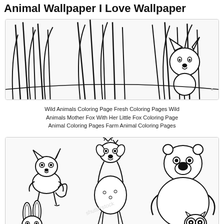Animal Wallpaper I Love Wallpaper
[Figure (illustration): Coloring page illustration of wild animals — a fox among tall grass and reeds, black and white line art.]
Wild Animals Coloring Page Fresh Coloring Pages Wild Animals Mother Fox With Her Little Fox Coloring Page Animal Coloring Pages Farm Animal Coloring Pages
[Figure (illustration): Coloring page illustration of cute cartoon animals — a fox, a deer with antlers, a bear, a rabbit, and an owl, all in black and white line art style.]